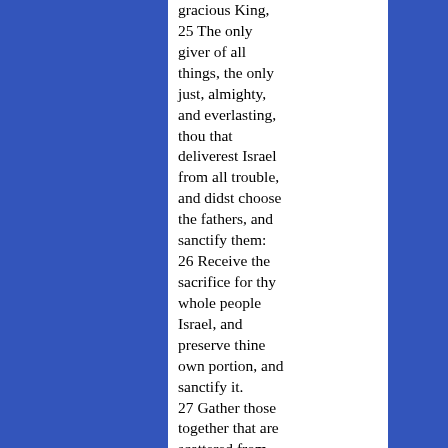gracious King, 25 The only giver of all things, the only just, almighty, and everlasting, thou that deliverest Israel from all trouble, and didst choose the fathers, and sanctify them: 26 Receive the sacrifice for thy whole people Israel, and preserve thine own portion, and sanctify it. 27 Gather those together that are scattered from us, deliver them that serve among the heathen, look upon them that are despised and abhorred, and let